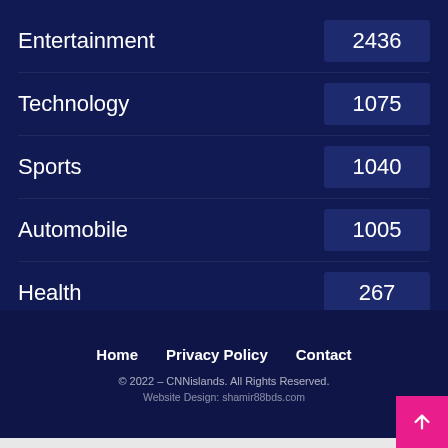Entertainment 2436
Technology 1075
Sports 1040
Automobile 1005
Health 267
Home   Privacy Policy   Contact
© 2022 – CNNislands. All Rights Reserved.
Website Design: shamir88bds.com